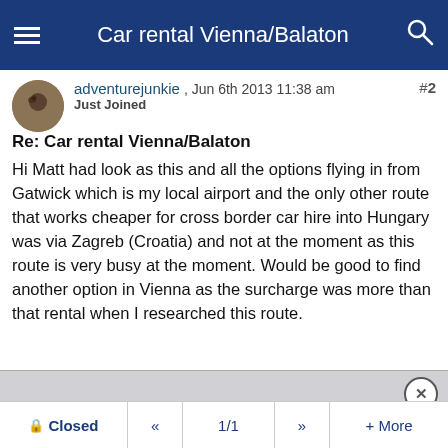Car rental Vienna/Balaton
adventurejunkie , Jun 6th 2013 11:38 am
Just Joined
Re: Car rental Vienna/Balaton
Hi Matt had look as this and all the options flying in from Gatwick which is my local airport and the only other route that works cheaper for cross border car hire into Hungary was via Zagreb (Croatia) and not at the moment as this route is very busy at the moment. Would be good to find another option in Vienna as the surcharge was more than that rental when I researched this route.
Closed  «  1/1  »  + More